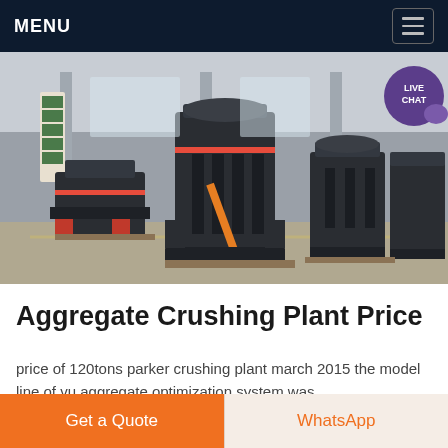MENU
[Figure (photo): Industrial aggregate crushing plant machinery on a factory floor, showing several large dark-colored crushers and industrial equipment in a warehouse setting. A 'LIVE CHAT' badge is overlaid in the top right corner.]
Aggregate Crushing Plant Price
price of 120tons parker crushing plant march 2015 the model line of vu aggregate optimization system was